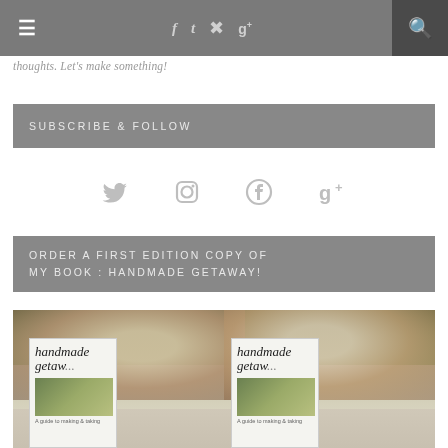Navigation bar with hamburger menu, social icons (f, t, pinterest, g+), and search
thoughts. Let's make something!
SUBSCRIBE & FOLLOW
[Figure (infographic): Social media icons row: Twitter bird, Instagram camera, Pinterest, Google+]
ORDER A FIRST EDITION COPY OF MY BOOK : HANDMADE GETAWAY!
[Figure (photo): Two women smiling and holding up copies of the book 'handmade getaway' outdoors]